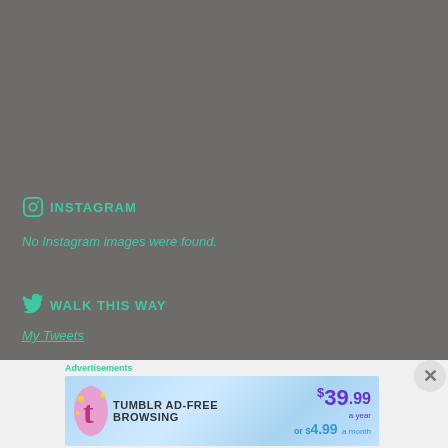[Figure (screenshot): Dark navy top bar element at top center of page]
INSTAGRAM
No Instagram images were found.
WALK THIS WAY
My Tweets
Advertisements
[Figure (screenshot): Tumblr Ad-Free Browsing advertisement banner: $39.99 a year or $4.99 a month]